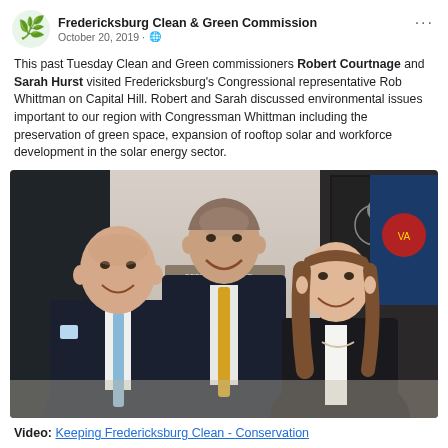Fredericksburg Clean & Green Commission
October 20, 2019
This past Tuesday Clean and Green commissioners Robert Courtnage and Sarah Hurst visited Fredericksburg's Congressional representative Rob Whittman on Capital Hill. Robert and Sarah discussed environmental issues important to our region with Congressman Whittman including the preservation of green space, expansion of rooftop solar and workforce development in the solar energy sector.
[Figure (photo): Three people posing for a photo in an office hallway: a bald man in a dark suit with a light blue tie on the left, a taller man in a dark suit with a yellow tie in the center standing in front of a nameplate reading 'Wittman', and a young woman with long brown hair in a dark blazer on the right. Flags are visible in the background.]
Video: Keeping Fredericksburg Clean - Conservation